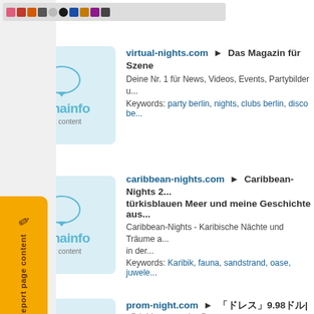[Figure (screenshot): Top toolbar icon bar with colored icons]
[Figure (screenshot): Domainfo thumbnail - adult content label, first result]
virtual-nights.com ► Das Magazin für Szene
Deine Nr. 1 für News, Videos, Events, Partybilder u...
Keywords: party berlin, nights, clubs berlin, disco be...
[Figure (screenshot): Domainfo thumbnail - adult content label, second result]
caribbean-nights.com ► Caribbean-Nights 2... türkisblauen Meer und meine Geschichte aus...
Caribbean-Nights - Karibische Nächte und Träume a... in der...
Keywords: Karibik, fauna, sandstrand, oase, juwele...
[Figure (screenshot): Domainfo thumbnail - third result (partial)]
prom-night.com ► 「ドレス」9.98ドル|「女性」1999年「ドレス」
「公」K公「ドレス」,「ドレス」「ドレス」「ドレス」,「公」K「ドレス」「ドレス」「ドレス」,「ドレス」「ドレス」「ドレス」「ドレス」「ドレス」「ドレス」「ドレス」「ドレス」「ドレス」「ドレス」*